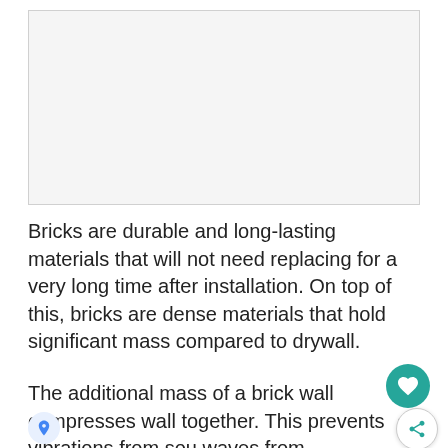[Figure (photo): Image placeholder area at the top of the page — appears blank/light gray, likely a photo of bricks or a wall.]
Bricks are durable and long-lasting materials that will not need replacing for a very long time after installation. On top of this, bricks are dense materials that hold significant mass compared to drywall.
The additional mass of a brick wall compresses wall together. This prevents vibrations from sou waves from effortlessly passing through and